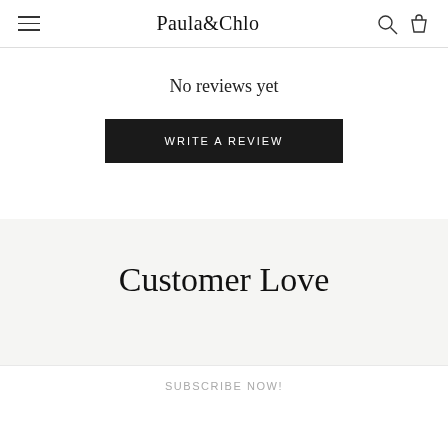Paula&Chlo
No reviews yet
WRITE A REVIEW
Customer Love
SUBSCRIBE NOW!